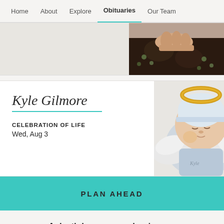Home | About | Explore | Obituaries | Our Team
[Figure (photo): Partial photo of an elderly person's hands, wearing a dark floral garment]
Kyle Gilmore
CELEBRATION OF LIFE
Wed, Aug 3
[Figure (photo): Newborn baby dressed as an angel with white wings and a golden halo, sleeping peacefully]
PLAN AHEAD
A death has occurred or is near